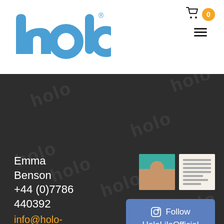[Figure (logo): Holo brand logo in blue with registered trademark symbol]
[Figure (infographic): Shopping cart icon with orange badge showing 0, and hamburger menu icon]
Emma Benson
+44 (0)7786 440392
info@holo-lilo.com
[Figure (photo): Two small Instagram thumbnail images]
[Figure (infographic): Follow HoloLiloOfficial Instagram button]
[Figure (infographic): Award badges: circular badge, small badge, gold medal, red star badge]